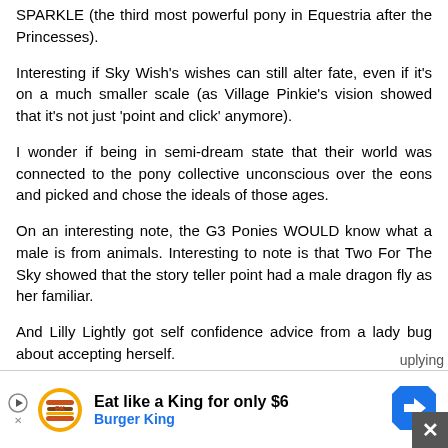SPARKLE (the third most powerful pony in Equestria after the Princesses).
Interesting if Sky Wish's wishes can still alter fate, even if it's on a much smaller scale (as Village Pinkie's vision showed that it's not just 'point and click' anymore).
I wonder if being in semi-dream state that their world was connected to the pony collective unconscious over the eons and picked and chose the ideals of those ages.
On an interesting note, the G3 Ponies WOULD know what a male is from animals. Interesting to note is that Two For The Sky showed that the story teller point had a male dragon fly as her familiar.
And Lilly Lightly got self confidence advice from a lady bug about accepting herself.
While these were both likely just part of the dream world, the major theme we've seen here is that illusion
[Figure (infographic): Burger King advertisement banner: 'Eat like a King for only $6' with Burger King logo and navigation arrow icon]